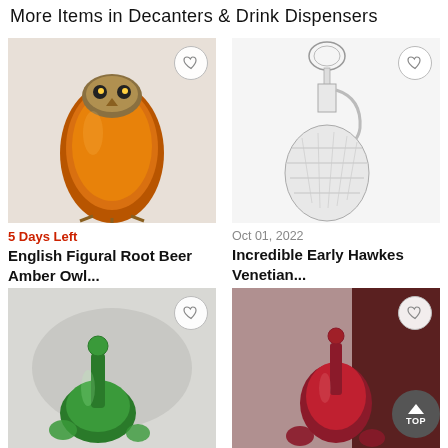More Items in Decanters & Drink Dispensers
[Figure (photo): English Figural Root Beer Amber Owl glass decanter with amber color and owl head stopper on white fabric background]
[Figure (photo): Incredible Early Hawkes Venetian cut crystal decanter/claret jug with handle and ornate stopper on white background]
5 Days Left
Oct 01, 2022
English Figural Root Beer Amber Owl...
Incredible Early Hawkes Venetian...
$275
$380
[Figure (photo): Green glass decanter set with stopper and matching small glasses on white background]
[Figure (photo): Cranberry red art glass decanter with matching small red glasses on draped fabric background]